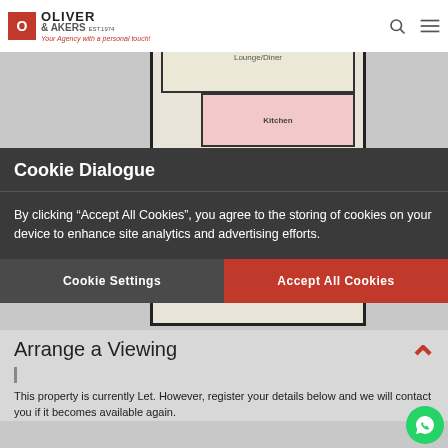[Figure (screenshot): Oliver & Akers real estate website header with logo showing a red square icon, 'OLIVER & AKERS' text and tagline 'Your Agency with a personal touch!', search icon, and hamburger menu icon]
[Figure (engineering-diagram): Property floorplan showing Lounge/Diner room and Kitchen layout with rooms outlined in black on beige/cream background]
Cookie Dialogue
By clicking “Accept All Cookies”, you agree to the storing of cookies on your device to enhance site analytics and advertising efforts.
Cookie Settings
Accept All Cookies
Arrange a Viewing
This property is currently Let. However, register your details below and we will contact you if it becomes available again.